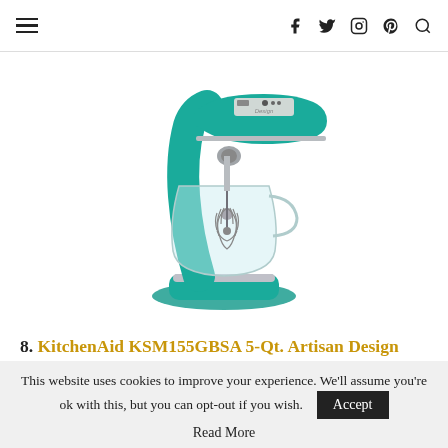≡  f  twitter  instagram  pinterest  search
[Figure (photo): KitchenAid KSM155GBSA 5-Qt. Artisan Design Series Stand Mixer in Sea Glass (teal/green color) with glass bowl and wire whisk attachment, photographed on white background.]
8. KitchenAid KSM155GBSA 5-Qt. Artisan Design Series with Glass Bowl – Sea Glass
This website uses cookies to improve your experience. We'll assume you're ok with this, but you can opt-out if you wish.  Accept
Read More